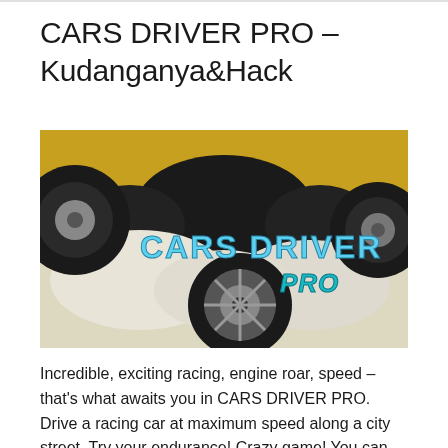CARS DRIVER PRO – Kudanganya&Hack
[Figure (illustration): Promotional banner image for 'CARS DRIVER PRO' game showing car wheels and tires against a yellow and white background with stylized blue and teal text reading 'CARS DRIVER' and 'PRO']
Incredible, exciting racing, engine roar, speed – that's what awaits you in CARS DRIVER PRO. Drive a racing car at maximum speed along a city street. Try your endurance! Crazy game! You can customize your car as you like – put on the coolest wheels, the most powerful engine, na